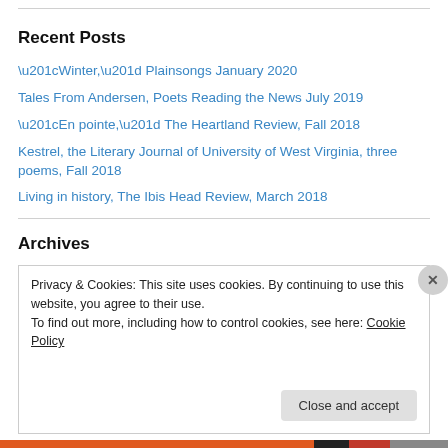Recent Posts
“Winter,” Plainsongs January 2020
Tales From Andersen, Poets Reading the News July 2019
“En pointe,” The Heartland Review, Fall 2018
Kestrel, the Literary Journal of University of West Virginia, three poems, Fall 2018
Living in history, The Ibis Head Review, March 2018
Archives
Privacy & Cookies: This site uses cookies. By continuing to use this website, you agree to their use.
To find out more, including how to control cookies, see here: Cookie Policy
Close and accept